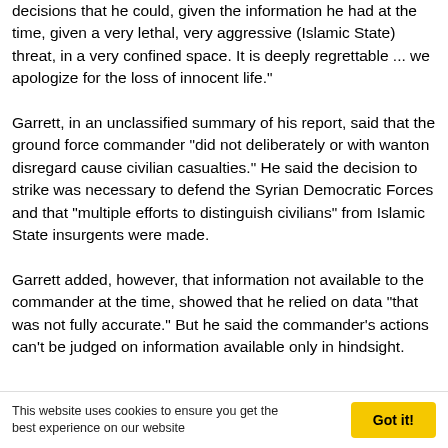decisions that he could, given the information he had at the time, given a very lethal, very aggressive (Islamic State) threat, in a very confined space. It is deeply regrettable ... we apologize for the loss of innocent life."
Garrett, in an unclassified summary of his report, said that the ground force commander "did not deliberately or with wanton disregard cause civilian casualties." He said the decision to strike was necessary to defend the Syrian Democratic Forces and that "multiple efforts to distinguish civilians" from Islamic State insurgents were made.
Garrett added, however, that information not available to the commander at the time, showed that he relied on data "that was not fully accurate." But he said the commander's actions can't be judged on information available only in hindsight.
This website uses cookies to ensure you get the best experience on our website
Got it!